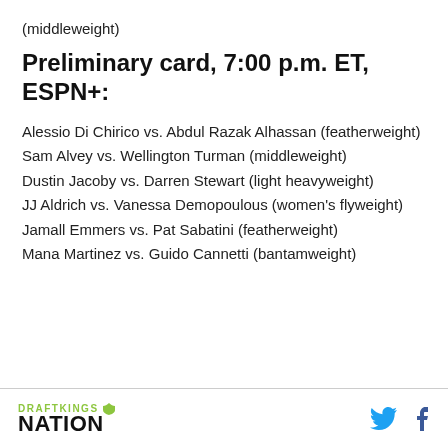(middleweight)
Preliminary card, 7:00 p.m. ET, ESPN+:
Alessio Di Chirico vs. Abdul Razak Alhassan (featherweight)
Sam Alvey vs. Wellington Turman (middleweight)
Dustin Jacoby vs. Darren Stewart (light heavyweight)
JJ Aldrich vs. Vanessa Demopoulous (women's flyweight)
Jamall Emmers vs. Pat Sabatini (featherweight)
Mana Martinez vs. Guido Cannetti (bantamweight)
DRAFTKINGS NATION